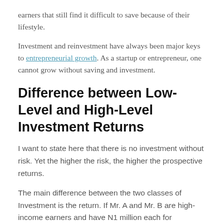earners that still find it difficult to save because of their lifestyle.
Investment and reinvestment have always been major keys to entrepreneurial growth. As a startup or entrepreneur, one cannot grow without saving and investment.
Difference between Low-Level and High-Level Investment Returns
I want to state here that there is no investment without risk. Yet the higher the risk, the higher the prospective returns.
The main difference between the two classes of Investment is the return. If Mr. A and Mr. B are high-income earners and have N1 million each for investment and both wish to invest in the shares of